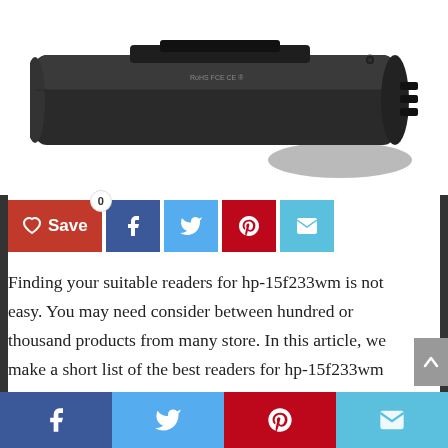[Figure (photo): Laptop battery product image - a slim black rectangular laptop battery pack with connectors, viewed at an angle. Text on battery includes RoHS, FCC, CE marks.]
[Figure (infographic): Social share bar with Save button (red, heart icon, count 0), Facebook (dark blue), Twitter (light blue), Pinterest (red), Email (light blue) buttons]
Finding your suitable readers for hp-15f233wm is not easy. You may need consider between hundred or thousand products from many store. In this article, we make a short list of the best readers for hp-15f233wm including detail information and customer reviews. Let’s find out which is your favorite one.
[Figure (infographic): Bottom social sharing bar with Facebook (dark blue), Twitter (light blue), Pinterest (red), Email (light blue) buttons spanning full width]